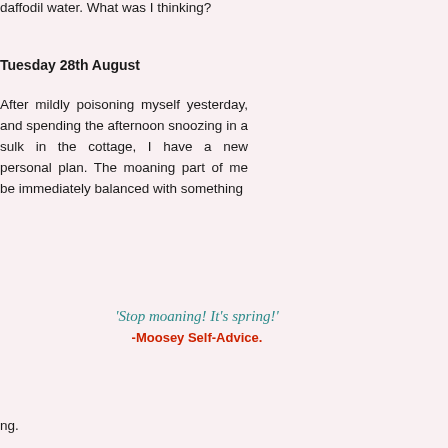daffodil water. What was I thinking?
Tuesday 28th August
After mildly poisoning myself yesterday, and spending the afternoon snoozing in a sulk in the cottage, I have a new personal plan. The moaning part of me be immediately balanced with something
'Stop moaning! It's spring!'
-Moosey Self-Advice.
ng.
[Figure (photo): Close-up photograph of a white flower (likely a rhododendron or similar) against a dark green leafy background]